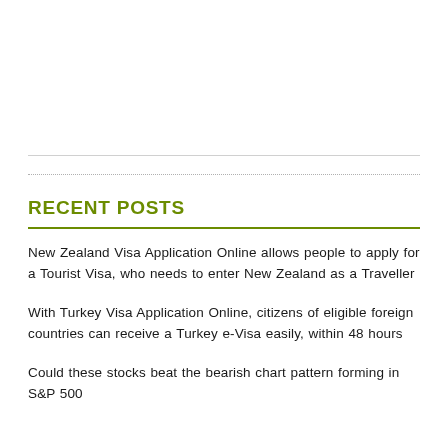RECENT POSTS
New Zealand Visa Application Online allows people to apply for a Tourist Visa, who needs to enter New Zealand as a Traveller
With Turkey Visa Application Online, citizens of eligible foreign countries can receive a Turkey e-Visa easily, within 48 hours
Could these stocks beat the bearish chart pattern forming in S&P 500